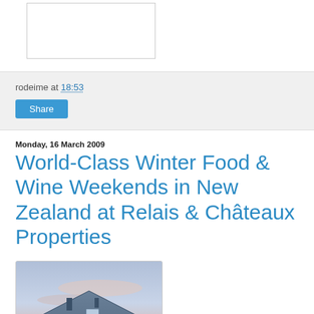[Figure (photo): A bordered empty/white image box at the top of the page]
rodeime at 18:53
Share
Monday, 16 March 2009
World-Class Winter Food & Wine Weekends in New Zealand at Relais & Châteaux Properties
[Figure (photo): Photograph of a building with a blue/grey roof against a pink and blue twilight sky]